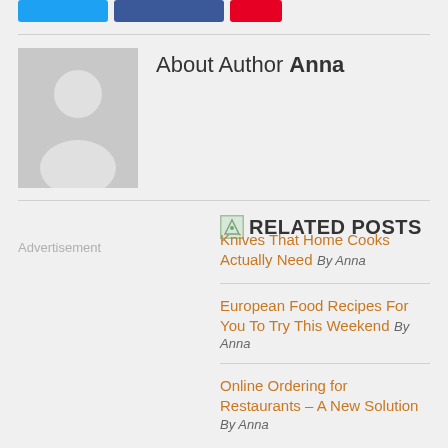[Figure (other): Social share buttons: Twitter (blue), Facebook (dark blue), Pinterest (red)]
About Author Anna
[Figure (photo): Gray placeholder avatar image of a person silhouette]
RELATED POSTS
Advertisement
Knives That Home Cooks Actually Need By Anna
European Food Recipes For You To Try This Weekend By Anna
Online Ordering for Restaurants – A New Solution By Anna